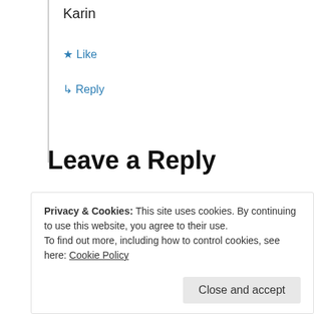Karin
★ Like
↳ Reply
Leave a Reply
Your email address will not be published. Required fields are marked *
Comment *
Privacy & Cookies: This site uses cookies. By continuing to use this website, you agree to their use.
To find out more, including how to control cookies, see here: Cookie Policy
Close and accept